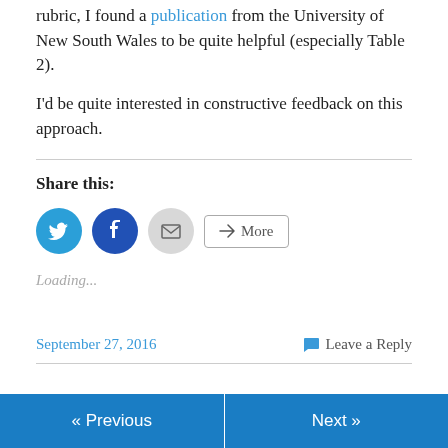rubric, I found a publication from the University of New South Wales to be quite helpful (especially Table 2).
I'd be quite interested in constructive feedback on this approach.
Share this:
[Figure (other): Social share buttons: Twitter (blue circle), Facebook (blue circle), Email (grey circle), More button]
Loading...
September 27, 2016    Leave a Reply
« Previous    Next »